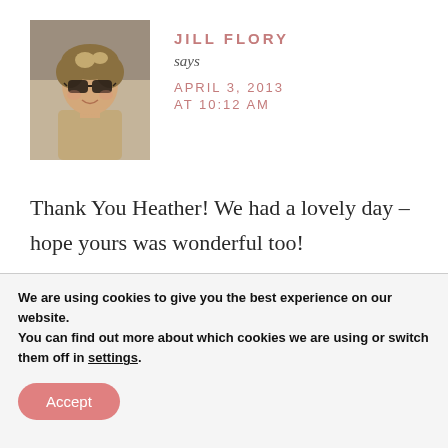[Figure (photo): Profile photo of Jill Flory – a woman with short highlighted hair wearing sunglasses, smiling outdoors]
JILL FLORY
says
APRIL 3, 2013 AT 10:12 AM
Thank You Heather! We had a lovely day – hope yours was wonderful too!
We are using cookies to give you the best experience on our website.
You can find out more about which cookies we are using or switch them off in settings.
Accept